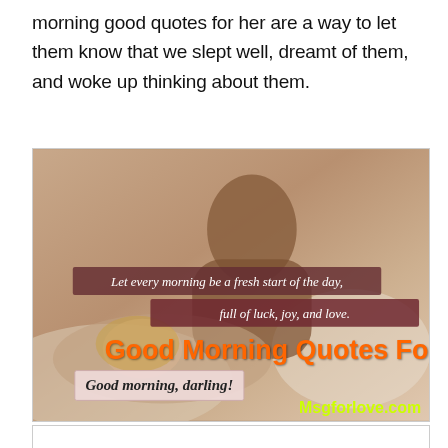morning good quotes for her are a way to let them know that we slept well, dreamt of them, and woke up thinking about them.
[Figure (photo): A couple laughing together in bed. Overlaid text reads: 'Let every morning be a fresh start of the day, full of luck, joy, and love.' Large orange bold text: 'Good Morning Quotes For Her'. A small box reads 'Good morning, darling!' and watermark 'Msgforlove.com' in yellow-green.]